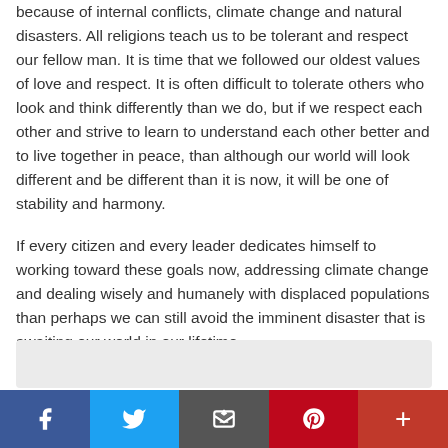because of internal conflicts, climate change and natural disasters. All religions teach us to be tolerant and respect our fellow man. It is time that we followed our oldest values of love and respect. It is often difficult to tolerate others who look and think differently than we do, but if we respect each other and strive to learn to understand each other better and to live together in peace, than although our world will look different and be different than it is now, it will be one of stability and harmony.
If every citizen and every leader dedicates himself to working toward these goals now, addressing climate change and dealing wisely and humanely with displaced populations than perhaps we can still avoid the imminent disaster that is awaiting our world in our lifetime.
[Figure (other): Gray placeholder box at the bottom of the content area]